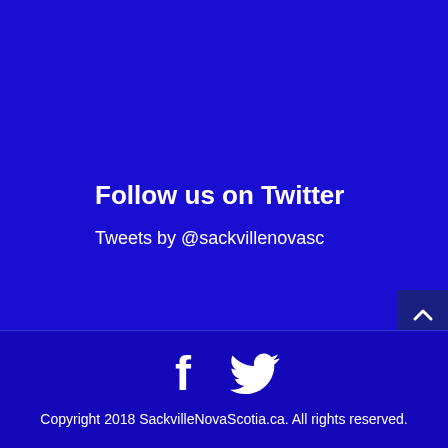Follow us on Twitter
Tweets by @sackvillenovasc
[Figure (illustration): Facebook and Twitter social media icons in white on dark blue background]
Copyright 2018 SackvilleNovaScotia.ca. All rights reserved.